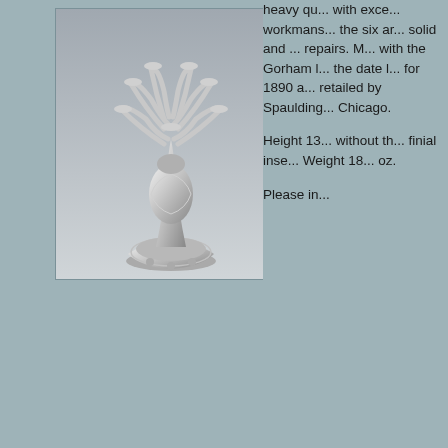[Figure (photo): Photograph of a pair of ornate silver candelabras with six arms each, heavily decorated with floral and shell motifs on the bases and stems, sitting on small ball feet, against a grey gradient background.]
heavy qu... with exce... workmans... the six ar... solid and ... repairs. M... with the Gorham l... the date l... for 1890 a... retailed by Spaulding... Chicago.

Height 13... without th... finial inse... Weight 18... oz.

Please in...